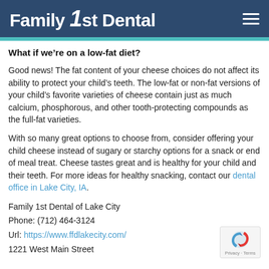Family 1st Dental
What if we’re on a low-fat diet?
Good news! The fat content of your cheese choices do not affect its ability to protect your child’s teeth. The low-fat or non-fat versions of your child’s favorite varieties of cheese contain just as much calcium, phosphorous, and other tooth-protecting compounds as the full-fat varieties.
With so many great options to choose from, consider offering your child cheese instead of sugary or starchy options for a snack or end of meal treat. Cheese tastes great and is healthy for your child and their teeth. For more ideas for healthy snacking, contact our dental office in Lake City, IA.
Family 1st Dental of Lake City
Phone: (712) 464-3124
Url: https://www.ffdlakecity.com/
1221 West Main Street